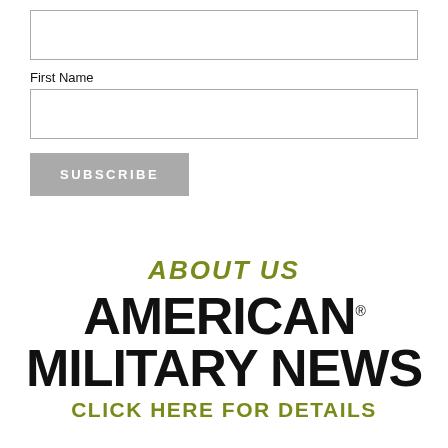[Figure (other): Empty input field box (email or similar form field)]
First Name
[Figure (other): Empty input field box for First Name]
SUBSCRIBE
ABOUT US
[Figure (infographic): American Military News logo with 'About Us' heading in olive green and 'CLICK HERE FOR DETAILS' below in olive green]